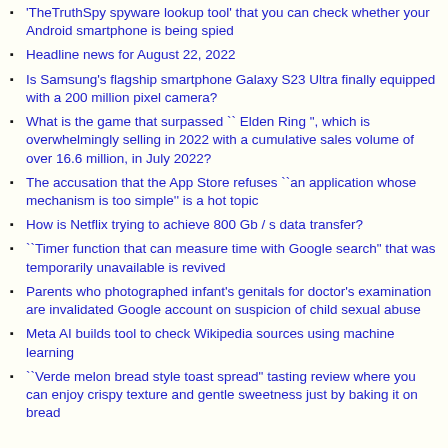'TheTruthSpy spyware lookup tool' that you can check whether your Android smartphone is being spied
Headline news for August 22, 2022
Is Samsung's flagship smartphone Galaxy S23 Ultra finally equipped with a 200 million pixel camera?
What is the game that surpassed `` Elden Ring ", which is overwhelmingly selling in 2022 with a cumulative sales volume of over 16.6 million, in July 2022?
The accusation that the App Store refuses ``an application whose mechanism is too simple'' is a hot topic
How is Netflix trying to achieve 800 Gb / s data transfer?
``Timer function that can measure time with Google search" that was temporarily unavailable is revived
Parents who photographed infant's genitals for doctor's examination are invalidated Google account on suspicion of child sexual abuse
Meta AI builds tool to check Wikipedia sources using machine learning
``Verde melon bread style toast spread" tasting review where you can enjoy crispy texture and gentle sweetness just by baking it on bread